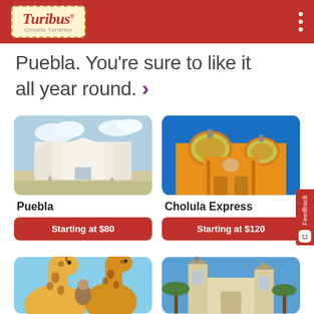Turibus Circuito Turístico
Puebla. You're sure to like it all year round. >
[Figure (photo): White modern museum building with curved facade under blue sky]
Puebla
Starting at $80
[Figure (photo): Yellow baroque church dome with blue and white tiled ornamentation under blue sky - Cholula]
Cholula Express
Starting at $120
[Figure (photo): Two giraffes close-up with a person visible between them]
[Figure (photo): Colonial church with palm trees under blue sky - Cholula]